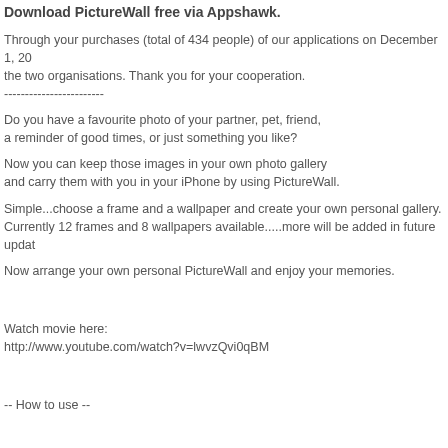Download PictureWall free via Appshawk.
Through your purchases (total of 434 people) of our applications on December 1, 20(...) the two organisations. Thank you for your cooperation.
------------------------
Do you have a favourite photo of your partner, pet, friend,
a reminder of good times, or just something you like?
Now you can keep those images in your own photo gallery
and carry them with you in your iPhone by using PictureWall.
Simple...choose a frame and a wallpaper and create your own personal gallery.
Currently 12 frames and 8 wallpapers available.....more will be added in future updat(...)
Now arrange your own personal PictureWall and enjoy your memories.
Watch movie here:
http://www.youtube.com/watch?v=lwvzQvi0qBM
-- How to use --